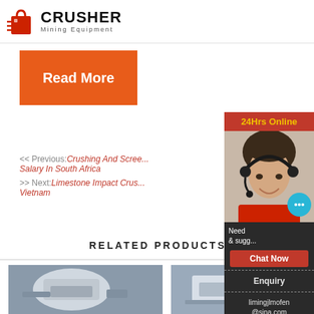[Figure (logo): Crusher Mining Equipment logo with red shopping bag icon and bold black CRUSHER text]
Read More
<< Previous:Crushing And Scree... Salary In South Africa
>> Next:Limestone Impact Crus... Vietnam
RELATED PRODUCTS
[Figure (photo): Industrial crusher equipment - left product photo]
[Figure (photo): Industrial crusher equipment - right product photo]
[Figure (photo): 24Hrs Online sidebar with woman wearing headset]
24Hrs Online
Need & sugg...
Chat Now
Enquiry
limingjlmofen@sina.com